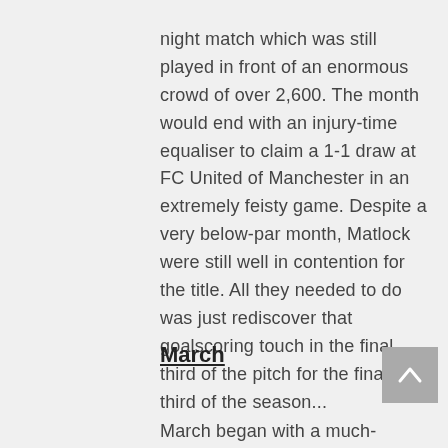night match which was still played in front of an enormous crowd of over 2,600. The month would end with an injury-time equaliser to claim a 1-1 draw at FC United of Manchester in an extremely feisty game. Despite a very below-par month, Matlock were still well in contention for the title. All they needed to do was just rediscover that goalscoring touch in the final third of the pitch for the final third of the season...
March
March began with a much-needed 2-1 victory at Gainsborough Trinity. With the